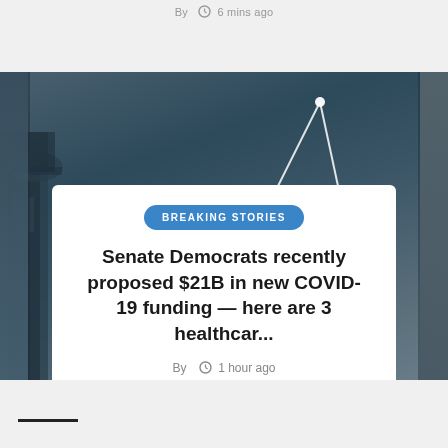By  6 mins ago
[Figure (photo): Dark blue-gray cityscape at night with bright white diagonal light beams in the background, buildings visible on the left side]
BREAKING STORIES
Senate Democrats recently proposed $21B in new COVID-19 funding — here are 3 healthcar...
By  1 hour ago